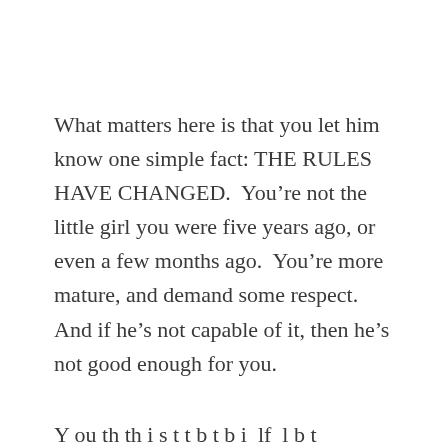What matters here is that you let him know one simple fact: THE RULES HAVE CHANGED.  You're not the little girl you were five years ago, or even a few months ago.  You're more mature, and demand some respect.  And if he's not capable of it, then he's not good enough for you.
Y... th th i t t b t b i ill lf l b t...